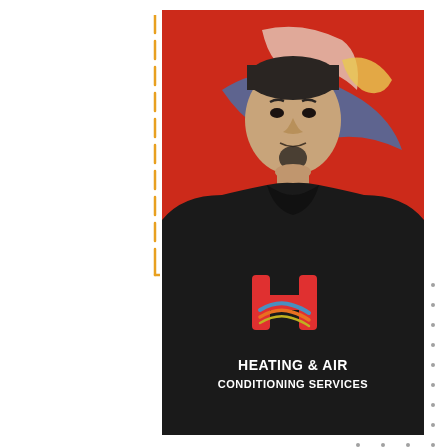[Figure (photo): A man wearing a black t-shirt with a Heating & Air Conditioning Services logo (red stylized 'H' with colorful swoosh wave design), standing in front of a red and white background with the company logo/vehicle visible behind him. Decorative orange dashed vertical line on the left side and a dot grid pattern on the right side as design elements.]